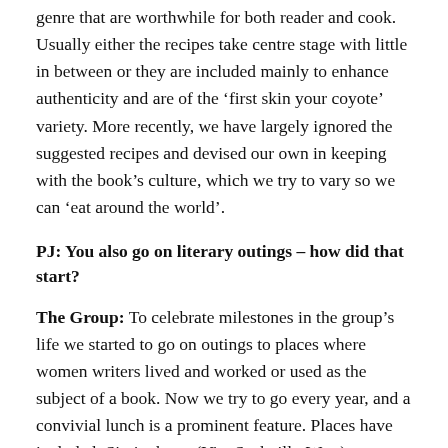genre that are worthwhile for both reader and cook. Usually either the recipes take centre stage with little in between or they are included mainly to enhance authenticity and are of the ‘first skin your coyote’ variety. More recently, we have largely ignored the suggested recipes and devised our own in keeping with the book’s culture, which we try to vary so we can ‘eat around the world’.
PJ: You also go on literary outings – how did that start?
The Group: To celebrate milestones in the group’s life we started to go on outings to places where women writers lived and worked or used as the subject of a book. Now we try to go every year, and a convivial lunch is a prominent feature. Places have included: Sissinghurst (Vita Sackville-West); Chawton (Jane Austen’s